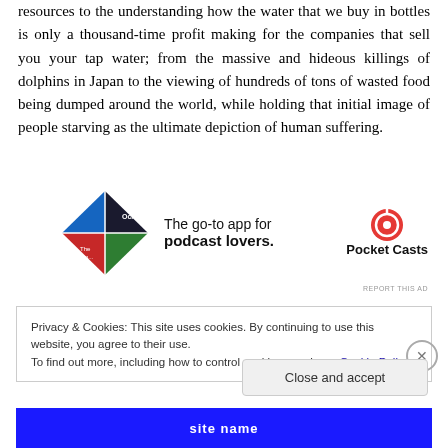resources to the understanding how the water that we buy in bottles is only a thousand-time profit making for the companies that sell you your tap water; from the massive and hideous killings of dolphins in Japan to the viewing of hundreds of tons of wasted food being dumped around the world, while holding that initial image of people starving as the ultimate depiction of human suffering.
[Figure (infographic): Pocket Casts advertisement banner: colorful diamond-shaped logo on left, text 'The go-to app for podcast lovers.' in center, Pocket Casts circular logo and brand name on right.]
REPORT THIS AD
Privacy & Cookies: This site uses cookies. By continuing to use this website, you agree to their use.
To find out more, including how to control cookies, see here: Cookie Policy
Close and accept